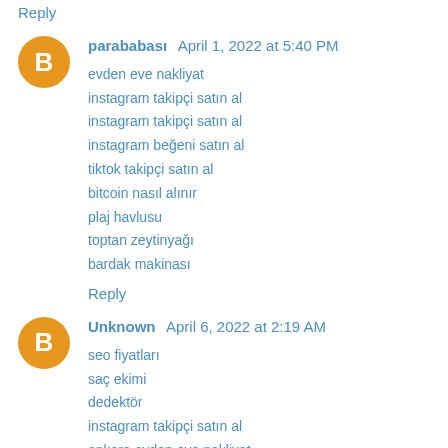Reply
parababası April 1, 2022 at 5:40 PM
evden eve nakliyat
instagram takipçi satın al
instagram takipçi satın al
instagram beğeni satın al
tiktok takipçi satın al
bitcoin nasıl alınır
plaj havlusu
toptan zeytinyağı
bardak makinası
Reply
Unknown April 6, 2022 at 2:19 AM
seo fiyatları
saç ekimi
dedektör
instagram takipçi satın al
ankara evden eve nakliyat